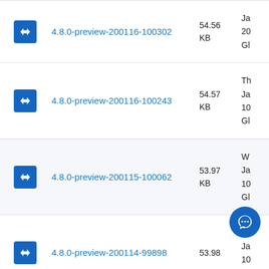4.8.0-preview-200116-100302, 54.56 KB, Ja 20 Gl
4.8.0-preview-200116-100243, 54.57 KB, Th Ja 10 Gl
4.8.0-preview-200115-100062, 53.97 KB, W Ja 10 Gl
4.8.0-preview-200114-99898, 53.98 KB, Tu Ja 10 Gl